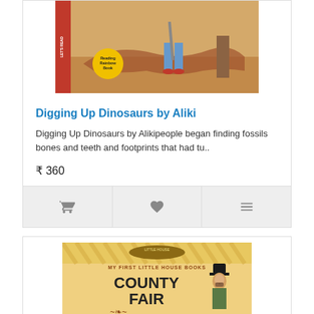[Figure (photo): Book cover of 'Digging Up Dinosaurs by Aliki' showing illustrated dinosaur fossils and a person with a shovel, with a 'Reading Rainbow Book' badge]
Digging Up Dinosaurs by Aliki
Digging Up Dinosaurs by Alikipeople began finding fossils bones and teeth and footprints that had tu..
₹ 360
[Figure (photo): Book cover of 'County Fair' from 'My First Little House Books' series showing a man in a top hat and fair scene]